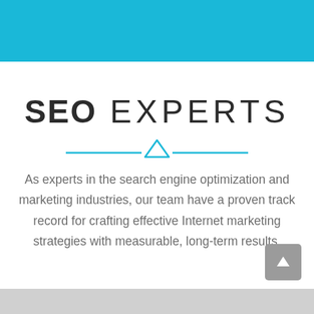SEO EXPERTS
[Figure (illustration): Horizontal cyan line with a small upward-pointing triangle (chevron/delta symbol) centered on it, acting as a decorative divider]
As experts in the search engine optimization and marketing industries, our team have a proven track record for crafting effective Internet marketing strategies with measurable, long-term results.